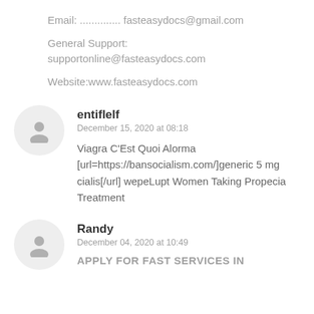Email: .............. fasteasydocs@gmail.com
General Support:
supportonline@fasteasydocs.com
Website:www.fasteasydocs.com
entiflelf
December 15, 2020 at 08:18
Viagra C'Est Quoi Alorma [url=https://bansocialism.com/]generic 5 mg cialis[/url] wepeLupt Women Taking Propecia Treatment
Randy
December 04, 2020 at 10:49
APPLY FOR FAST SERVICES IN